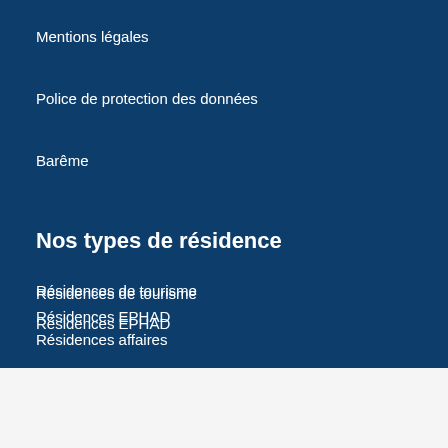Mentions légales
Police de protection des données
Barême
Nos types de résidence
Résidences de tourisme
Résidences EPHAD
Résidences affaires
Résidences seniors
Résidences étudiantes